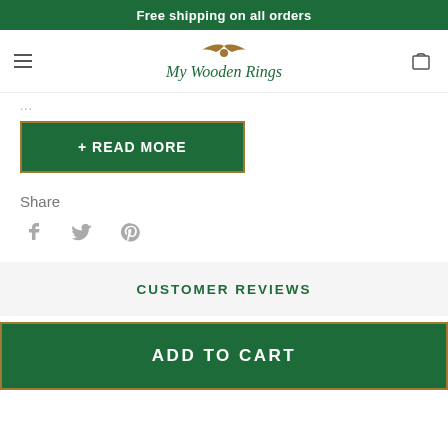Free shipping on all orders
[Figure (logo): My Wooden Rings logo with eagle and script text]
...
+ READ MORE
Share
[Figure (infographic): Social share icons: Facebook, Twitter, Pinterest]
CUSTOMER REVIEWS
ADD TO CART